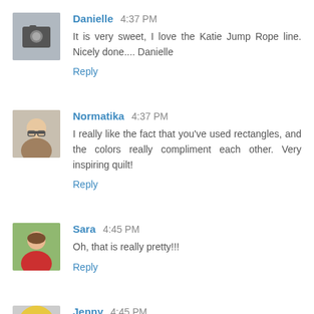[Figure (photo): Avatar photo of Danielle - person holding a camera]
Danielle 4:37 PM
It is very sweet, I love the Katie Jump Rope line. Nicely done.... Danielle
Reply
[Figure (photo): Avatar photo of Normatika - woman with glasses]
Normatika 4:37 PM
I really like the fact that you've used rectangles, and the colors really compliment each other. Very inspiring quilt!
Reply
[Figure (photo): Avatar photo of Sara - woman in red]
Sara 4:45 PM
Oh, that is really pretty!!!
Reply
[Figure (photo): Partial avatar photo of Jenny - circular]
Jenny 4:45 PM